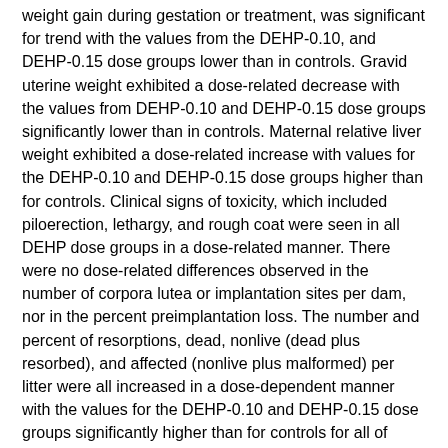weight gain during gestation or treatment, was significant for trend with the values from the DEHP-0.10, and DEHP-0.15 dose groups lower than in controls. Gravid uterine weight exhibited a dose-related decrease with the values from DEHP-0.10 and DEHP-0.15 dose groups significantly lower than in controls. Maternal relative liver weight exhibited a dose-related increase with values for the DEHP-0.10 and DEHP-0.15 dose groups higher than for controls. Clinical signs of toxicity, which included piloerection, lethargy, and rough coat were seen in all DEHP dose groups in a dose-related manner. There were no dose-related differences observed in the number of corpora lutea or implantation sites per dam, nor in the percent preimplantation loss. The number and percent of resorptions, dead, nonlive (dead plus resorbed), and affected (nonlive plus malformed) per litter were all increased in a dose-dependent manner with the values for the DEHP-0.10 and DEHP-0.15 dose groups significantly higher than for controls for all of these parameters. Number of live fetuses and number of males or females per litter exhibited a dose-related decrease with the